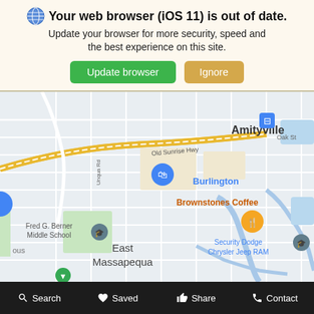Your web browser (iOS 11) is out of date. Update your browser for more security, speed and the best experience on this site.
[Figure (screenshot): Google Maps screenshot showing Amityville, East Massapequa area with locations including Burlington, Brownstones Coffee, Fred G. Berner Middle School, Security Dodge Chrysler Jeep RAM, and route 27A visible]
Search  Saved  Share  Contact